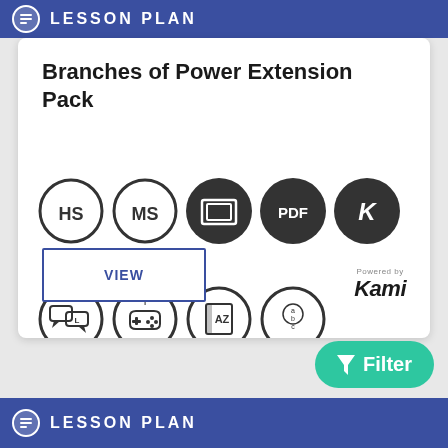LESSON PLAN
Branches of Power Extension Pack
[Figure (infographic): Row of educational resource badge icons: HS (high school), MS (middle school), presentation/slides icon, PDF icon, Kami K icon in filled dark circles; second row: live chat/language icon, game controller icon, dictionary AZ icon, abc spelling icon in outline circles]
VIEW
[Figure (logo): Kami logo with 'Powered by' above and 'Kami' in bold italic below]
Filter
LESSON PLAN